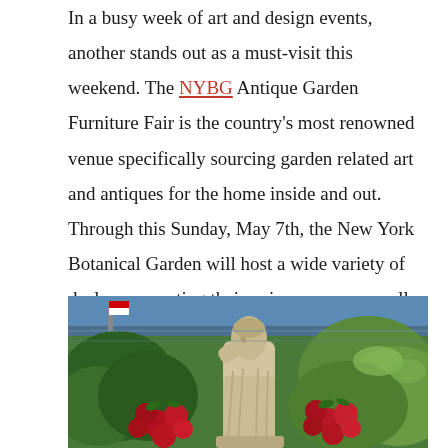In a busy week of art and design events, another stands out as a must-visit this weekend. The NYBG Antique Garden Furniture Fair is the country's most renowned venue specifically sourcing garden related art and antiques for the home inside and out. Through this Sunday, May 7th, the New York Botanical Garden will host a wide variety of dealers presenting their unique wares as well as a specialty plant sale featuring an extensive selection from the finest growers. Thursday evening I attended the preview party where I picked out a few items that caught my eye.
[Figure (photo): Outdoor garden fair scene with a classical stone statue of a woman/figure surrounded by bright red roses and green foliage, with a blue tent canopy visible in the background.]